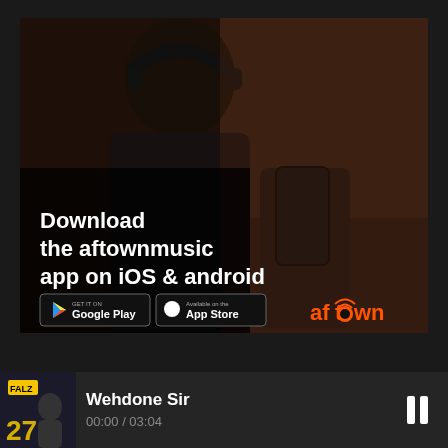[Figure (photo): Advertisement for aftownmusic app showing a young man wearing headphones and holding a smartphone, with text 'Download the aftownmusic app on iOS & android', Google Play and App Store badges, and the aftown logo]
Wehdone Sir
00:00 / 03:04